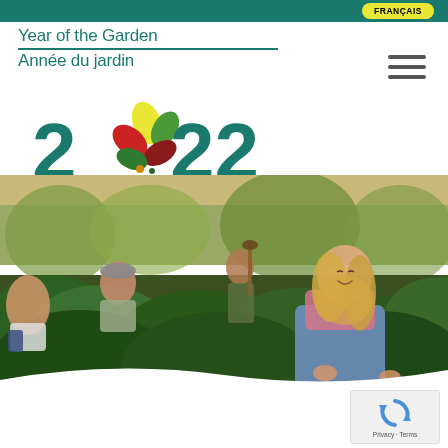FRANÇAIS
[Figure (logo): Year of the Garden / Année du jardin 2022 logo with colourful leaf design around the zero in 2022]
[Figure (photo): Group of young people gardening outdoors in a vegetable garden. A smiling young woman with long blonde hair wearing denim overalls kneels in the foreground picking vegetables. Other people are visible in the background tending to the garden.]
[Figure (other): reCAPTCHA widget with Privacy and Terms text]